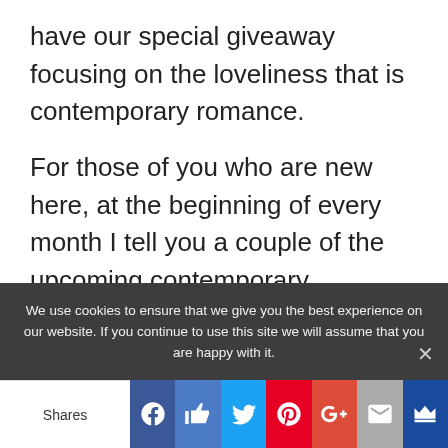have our special giveaway focusing on the loveliness that is contemporary romance.
For those of you who are new here, at the beginning of every month I tell you a couple of the upcoming contemporary romances I'm most looking forward to. You tell me the same and one person will win a $10 gift certificate for herself AND for the author.
We use cookies to ensure that we give you the best experience on our website. If you continue to use this site we will assume that you are happy with it.